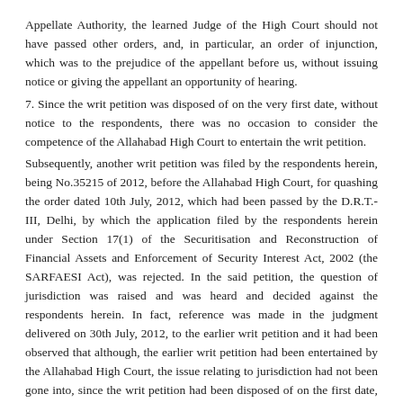Appellate Authority, the learned Judge of the High Court should not have passed other orders, and, in particular, an order of injunction, which was to the prejudice of the appellant before us, without issuing notice or giving the appellant an opportunity of hearing.
7. Since the writ petition was disposed of on the very first date, without notice to the respondents, there was no occasion to consider the competence of the Allahabad High Court to entertain the writ petition.
Subsequently, another writ petition was filed by the respondents herein, being No.35215 of 2012, before the Allahabad High Court, for quashing the order dated 10th July, 2012, which had been passed by the D.R.T.-III, Delhi, by which the application filed by the respondents herein under Section 17(1) of the Securitisation and Reconstruction of Financial Assets and Enforcement of Security Interest Act, 2002 (the SARFAESI Act), was rejected. In the said petition, the question of jurisdiction was raised and was heard and decided against the respondents herein. In fact, reference was made in the judgment delivered on 30th July, 2012, to the earlier writ petition and it had been observed that although, the earlier writ petition had been entertained by the Allahabad High Court, the issue relating to jurisdiction had not been gone into, since the writ petition had been disposed of on the first date, without hearing the respondents.
8. Ultimately, the learned Judge accepted the preliminary objections raised on behalf of the appellants herein and held that the Allahabad High Court